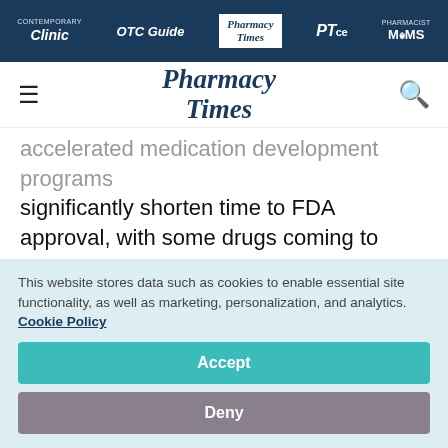Contemporary Clinic | OTC Guide | Pharmacy Times | PTce | Pharmacist Moms
Pharmacy Times [logo with hamburger menu and search icon]
accelerated medication development programs significantly shorten time to FDA approval, with some drugs coming to market up to a year sooner than they would without these programs, the Los Angeles Times reported.
This website stores data such as cookies to enable essential site functionality, as well as marketing, personalization, and analytics. Cookie Policy
Accept
Deny